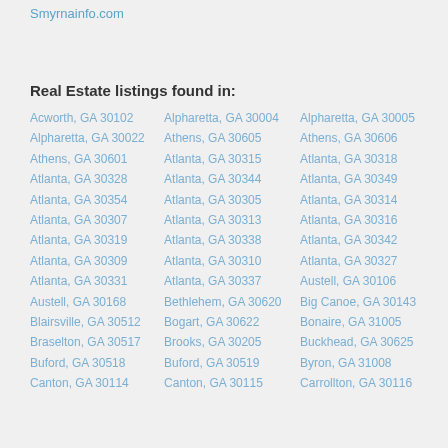Smyrnainfo.com
Real Estate listings found in:
Acworth, GA 30102
Alpharetta, GA 30004
Alpharetta, GA 30005
Alpharetta, GA 30022
Athens, GA 30605
Athens, GA 30606
Athens, GA 30601
Atlanta, GA 30315
Atlanta, GA 30318
Atlanta, GA 30328
Atlanta, GA 30344
Atlanta, GA 30349
Atlanta, GA 30354
Atlanta, GA 30305
Atlanta, GA 30314
Atlanta, GA 30307
Atlanta, GA 30313
Atlanta, GA 30316
Atlanta, GA 30319
Atlanta, GA 30338
Atlanta, GA 30342
Atlanta, GA 30309
Atlanta, GA 30310
Atlanta, GA 30327
Atlanta, GA 30331
Atlanta, GA 30337
Austell, GA 30106
Austell, GA 30168
Bethlehem, GA 30620
Big Canoe, GA 30143
Blairsville, GA 30512
Bogart, GA 30622
Bonaire, GA 31005
Braselton, GA 30517
Brooks, GA 30205
Buckhead, GA 30625
Buford, GA 30518
Buford, GA 30519
Byron, GA 31008
Canton, GA 30114
Canton, GA 30115
Carrollton, GA 30116